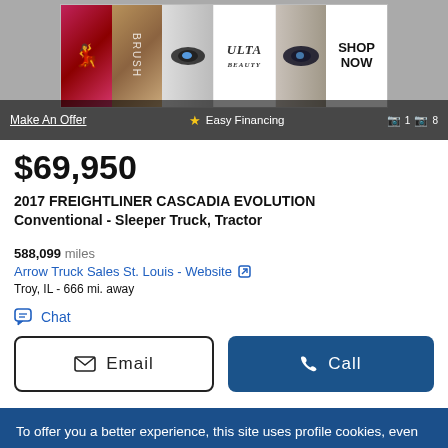[Figure (screenshot): Advertisement banner for ULTA beauty with makeup/cosmetics images and a 'SHOP NOW' call to action. Overlaid with 'Make An Offer' link and 'Easy Financing' text on a dark background bar.]
$69,950
2017 FREIGHTLINER CASCADIA EVOLUTION
Conventional - Sleeper Truck, Tractor
588,099 miles
Arrow Truck Sales St. Louis - Website
Troy, IL - 666 mi. away
Chat
Email
Call
To offer you a better experience, this site uses profile cookies, even from third parties. By continuing to use this website you consent to the use of cookies. For more information or to select your preferences consult our Privacy Policy
Cookie Settings
✓ OK